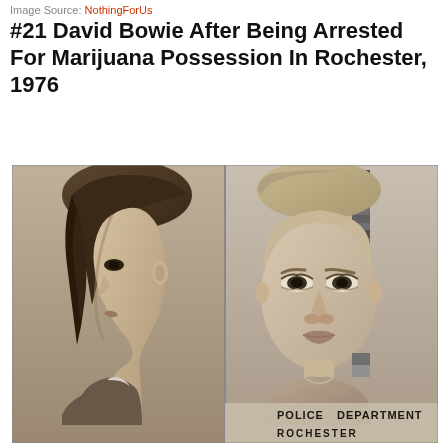Image Source: NothingForUs
#21 David Bowie After Being Arrested For Marijuana Possession In Rochester, 1976
[Figure (photo): Black and white police mugshot of David Bowie in 1976, showing side profile on the left and front-facing portrait on the right. The bottom right shows a stamp reading 'POLICE DEPARTMENT ROCHESTER']